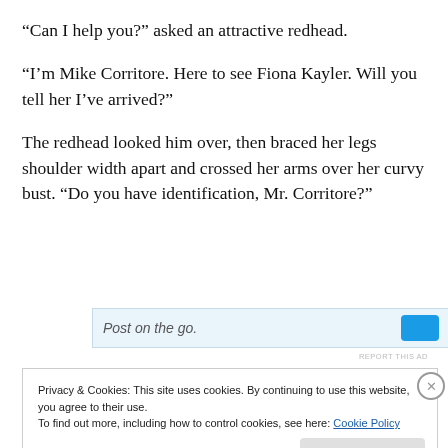“Can I help you?” asked an attractive redhead.
“I’m Mike Corritore. Here to see Fiona Kayler. Will you tell her I’ve arrived?”
The redhead looked him over, then braced her legs shoulder width apart and crossed her arms over her curvy bust. “Do you have identification, Mr. Corritore?”
[Figure (other): Partial advertisement bar showing italic text 'Post on the go.' with a blue icon button on the right]
REPORT THIS AD
Privacy & Cookies: This site uses cookies. By continuing to use this website, you agree to their use.
To find out more, including how to control cookies, see here: Cookie Policy
Close and accept